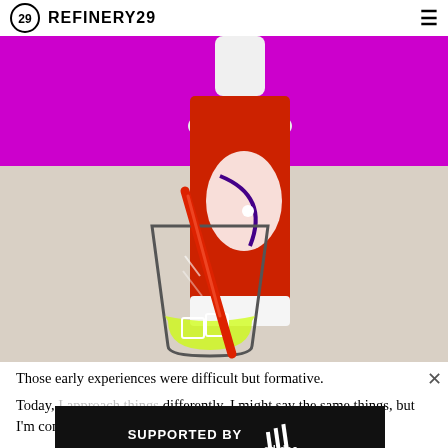REFINERY29
[Figure (illustration): Illustration of a glass with ice, a red straw, and a red hot sauce bottle pouring into it, against a magenta/pink and beige background.]
Those early experiences were difficult but formative. Today, ... differently. I might say the same things, but I'm coming
[Figure (other): Ad banner: SUPPORTED BY adidas, with a photo of an athlete.]